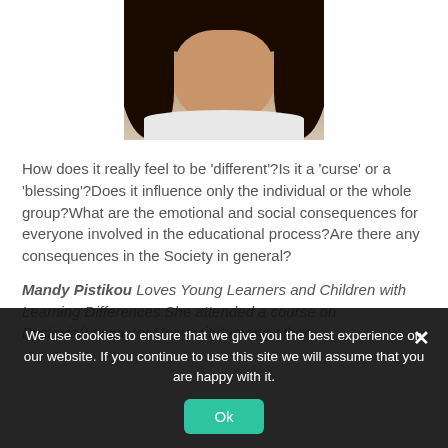[Figure (photo): Portrait photo of a woman with dark curly hair and light clothing, cropped at shoulders]
How does it really feel to be ‘different’?Is it a ‘curse’ or a ‘blessing’?Does it influence only the individual or the whole group?What are the emotional and social consequences for everyone involved in the educational process?Are there any consequences in the Society in general?
Mandy Pistikou Loves  Young Learners and Children with Learning Differences.She attended  a course on Dyslexia(Lancaster University)among others
We use cookies to ensure that we give you the best experience on our website. If you continue to use this site we will assume that you are happy with it.